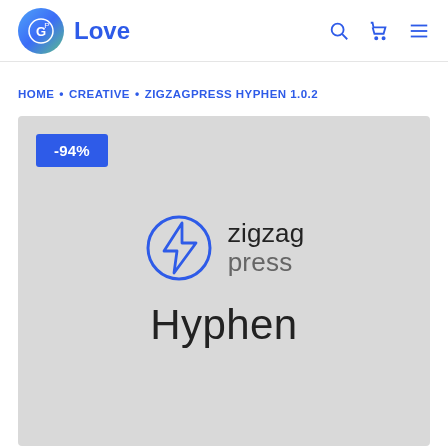Love
HOME • CREATIVE • ZIGZAGPRESS HYPHEN 1.0.2
[Figure (screenshot): Product image area with light grey background. Shows a discount badge '-94%' in blue, the ZigzagPress logo (circle with lightning bolt), brand name 'zigzag press', and large text 'Hyphen' below.]